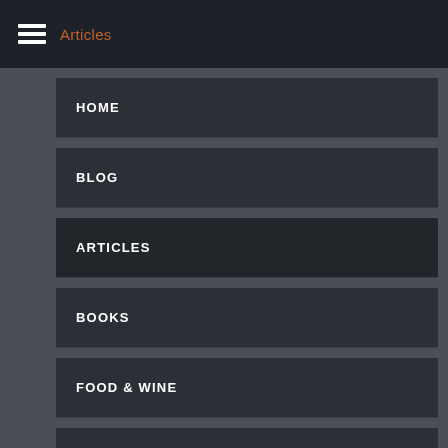Articles
HOME
BLOG
ARTICLES
BOOKS
FOOD & WINE
ART
VOICE OF THE YOUNG HUNTER
ABOUT